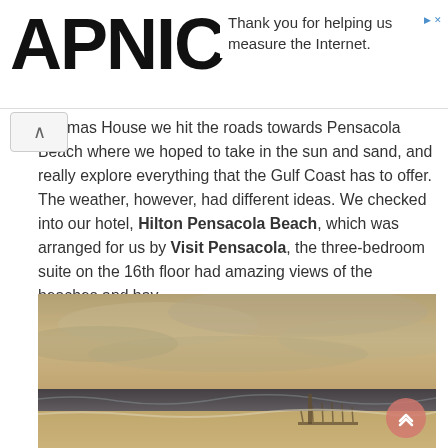APNIC — Thank you for helping us measure the Internet.
Houmas House we hit the roads towards Pensacola Beach where we hoped to take in the sun and sand, and really explore everything that the Gulf Coast has to offer. The weather, however, had different ideas. We checked into our hotel, Hilton Pensacola Beach, which was arranged for us by Visit Pensacola, the three-bedroom suite on the 16th floor had amazing views of the beaches and bay.
[Figure (photo): Aerial or high-floor view of Pensacola Beach showing cloudy overcast sky, sandy beach, ocean waves, a pier extending into the water, warm sepia-toned photograph taken from the hotel.]